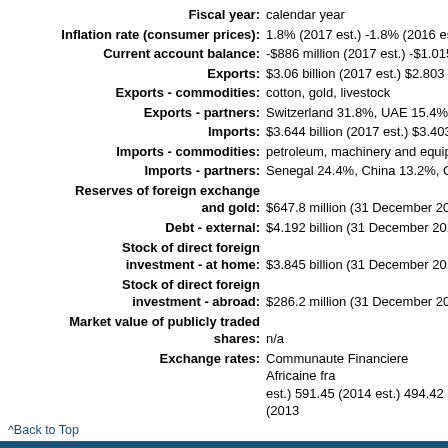Fiscal year: calendar year
Inflation rate (consumer prices): 1.8% (2017 est.) -1.8% (2016 est.)
Current account balance: -$886 million (2017 est.) -$1.015 billi...
Exports: $3.06 billion (2017 est.) $2.803 billion...
Exports - commodities: cotton, gold, livestock
Exports - partners: Switzerland 31.8%, UAE 15.4%, Bur...
Imports: $3.644 billion (2017 est.) $3.403 billio...
Imports - commodities: petroleum, machinery and equipmen...
Imports - partners: Senegal 24.4%, China 13.2%, Cote d...
Reserves of foreign exchange and gold: $647.8 million (31 December 2017 es...
Debt - external: $4.192 billion (31 December 2017 es...
Stock of direct foreign investment - at home: $3.845 billion (31 December 2017 es...
Stock of direct foreign investment - abroad: $286.2 million (31 December 2017 es...
Market value of publicly traded shares: n/a
Exchange rates: Communaute Financiere Africaine fra... est.) 591.45 (2014 est.) 494.42 (2013...
^Back to Top
Energy
Electricity - production: 2.489 billion kWh (2016 est.)
Electricity - consumption: 2.982 billion kWh (2016 est.)